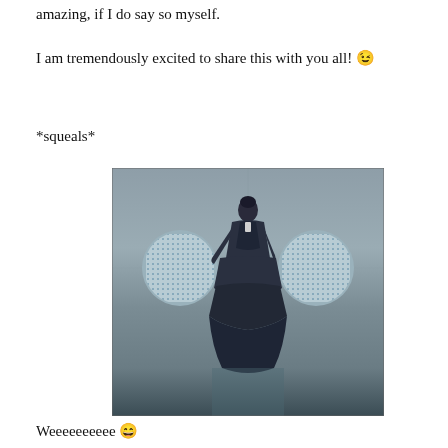amazing, if I do say so myself.
I am tremendously excited to share this with you all! 😉
*squeals*
[Figure (photo): A person in a dark Victorian-style layered gown standing in front of a concrete wall with two circular vent windows]
Weeeeeeeeee 😄